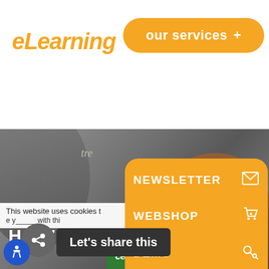eLearning
our services +
[Figure (screenshot): Hero banner showing two people silhouettes on grey background with partial text 'HOW HUMA' and cursive text 'tre']
NEWSLETTER
WEBSHOP
DEMO
CONTACT
This website uses cookies t
Let's share this
cept All
Settings